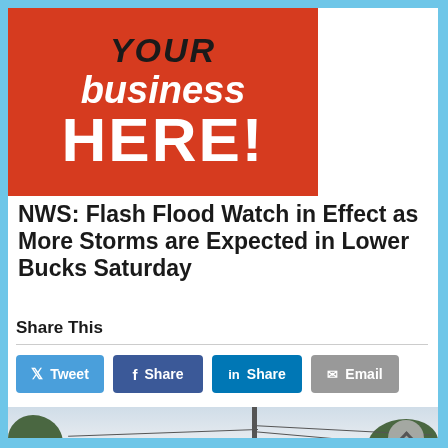[Figure (photo): Advertisement banner with red background showing 'YOUR BUSINESS HERE!' text in bold white and black letters]
NWS: Flash Flood Watch in Effect as More Storms are Expected in Lower Bucks Saturday
Share This
[Figure (other): Social sharing buttons: Tweet (Twitter/blue), Share (Facebook/blue), Share (LinkedIn/blue), Email (gray)]
[Figure (photo): Outdoor photograph showing power lines and utility pole against an overcast sky with trees in background]